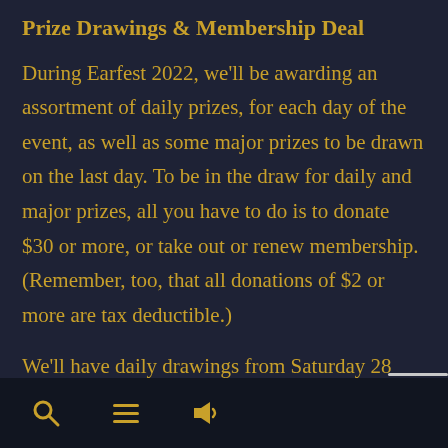Prize Drawings & Membership Deal
During Earfest 2022, we'll be awarding an assortment of daily prizes, for each day of the event, as well as some major prizes to be drawn on the last day. To be in the draw for daily and major prizes, all you have to do is to donate $30 or more, or take out or renew membership. (Remember, too, that all donations of $2 or more are tax deductible.)
We'll have daily drawings from Saturday 28